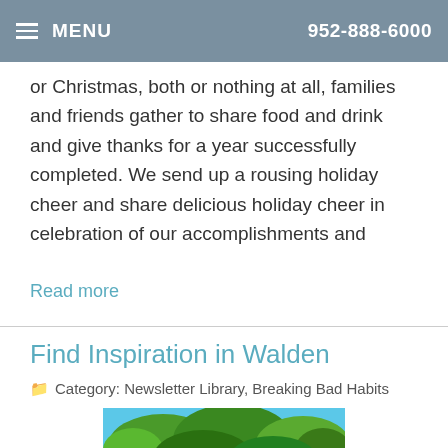MENU   952-888-6000
or Christmas, both or nothing at all, families and friends gather to share food and drink and give thanks for a year successfully completed. We send up a rousing holiday cheer and share delicious holiday cheer in celebration of our accomplishments and
Read more
Find Inspiration in Walden
Category: Newsletter Library, Breaking Bad Habits
[Figure (photo): Outdoor nature scene with trees and blue sky, partially visible thumbnail image]